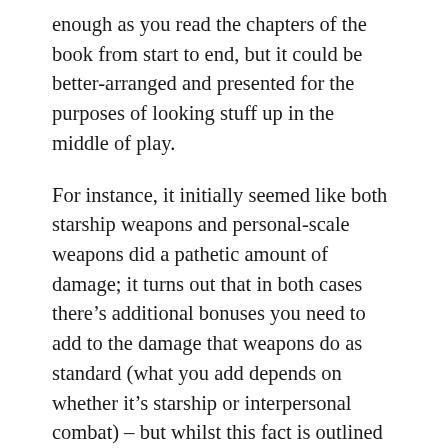enough as you read the chapters of the book from start to end, but it could be better-arranged and presented for the purposes of looking stuff up in the middle of play.
For instance, it initially seemed like both starship weapons and personal-scale weapons did a pathetic amount of damage; it turns out that in both cases there’s additional bonuses you need to add to the damage that weapons do as standard (what you add depends on whether it’s starship or interpersonal combat) – but whilst this fact is outlined in the main rules text, it isn’t mentioned on (or particularly near) the relevant weapons tables. It really feels like the tables needed a footnote to remind you what you needed to add to get the true damage totals – it honestly wouldn’t be that